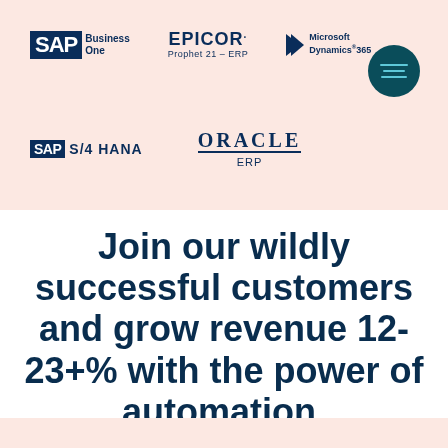[Figure (logo): Partner ERP logos: SAP Business One, EPICOR Prophet 21 ERP, Microsoft Dynamics 365, SAP S/4 HANA, Oracle ERP arranged in two rows on a pink/salmon background]
Join our wildly successful customers and grow revenue 12-23+% with the power of automation.